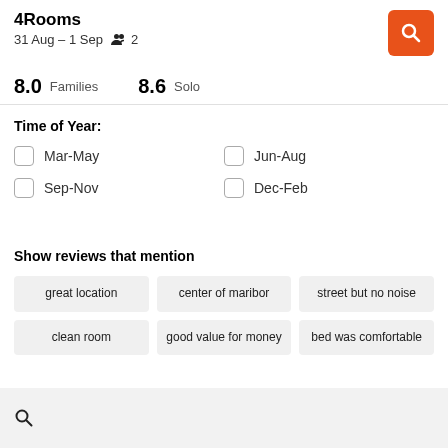4Rooms
31 Aug – 1 Sep  👥 2
8.0  Families    8.6  Solo
Time of Year:
Mar-May
Jun-Aug
Sep-Nov
Dec-Feb
Show reviews that mention
great location
center of maribor
street but no noise
clean room
good value for money
bed was comfortable